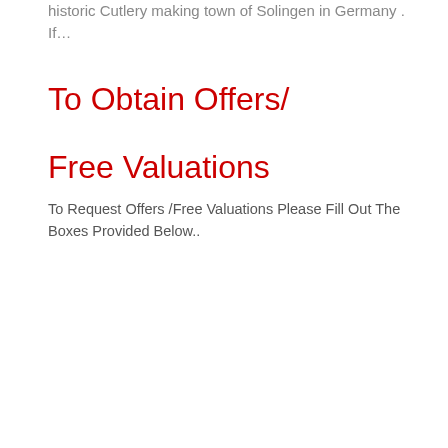historic Cutlery making town of Solingen in Germany . If…
To Obtain Offers/
Free Valuations
To Request Offers /Free Valuations Please Fill Out The Boxes Provided Below..